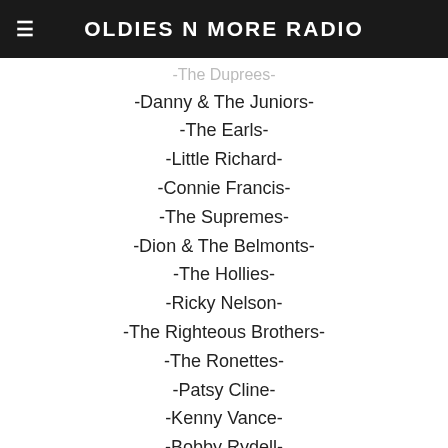OLDIES N MORE RADIO
-Dionne Warwick-
-The Duprees-
-Danny & The Juniors-
-The Earls-
-Little Richard-
-Connie Francis-
-The Supremes-
-Dion & The Belmonts-
-The Hollies-
-Ricky Nelson-
-The Righteous Brothers-
-The Ronettes-
-Patsy Cline-
-Kenny Vance-
-Bobby Rydell-
-Dusty Springfield-